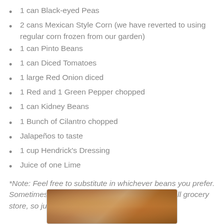1 can Black-eyed Peas
2 cans Mexican Style Corn (we have reverted to using regular corn frozen from our garden)
1 can Pinto Beans
1 can Diced Tomatoes
1 large Red Onion diced
1 Red and 1 Green Pepper chopped
1 can Kidney Beans
1 Bunch of Cilantro chopped
Jalapeños to taste
1 cup Hendrick's Dressing
Juice of one Lime
*Note: Feel free to substitute in whichever beans you prefer. Sometimes it's difficult to find every kind in a small grocery store, so just do your best.
[Figure (photo): Photo of a colorful salad or food dish in a bowl, partially visible at the bottom of the page]